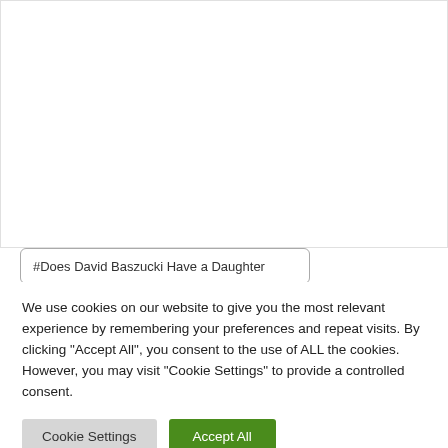[Figure (screenshot): White rectangular area representing a webpage content area, mostly blank/white with a light border on the left side.]
#Does David Baszucki Have a Daughter
We use cookies on our website to give you the most relevant experience by remembering your preferences and repeat visits. By clicking “Accept All”, you consent to the use of ALL the cookies. However, you may visit "Cookie Settings" to provide a controlled consent.
Cookie Settings
Accept All